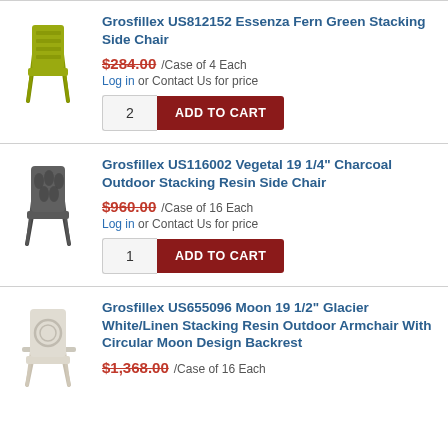[Figure (photo): Grosfillex US812152 Essenza Fern Green Stacking Side Chair - fern green plastic chair]
Grosfillex US812152 Essenza Fern Green Stacking Side Chair
$284.00 /Case of 4 Each
Log in or Contact Us for price
2 ADD TO CART
[Figure (photo): Grosfillex US116002 Vegetal 19 1/4" Charcoal Outdoor Stacking Resin Side Chair - charcoal gray plastic chair]
Grosfillex US116002 Vegetal 19 1/4" Charcoal Outdoor Stacking Resin Side Chair
$960.00 /Case of 16 Each
Log in or Contact Us for price
1 ADD TO CART
[Figure (photo): Grosfillex US655096 Moon 19 1/2" Glacier White/Linen Stacking Resin Outdoor Armchair - white/linen plastic armchair with circular moon design backrest]
Grosfillex US655096 Moon 19 1/2" Glacier White/Linen Stacking Resin Outdoor Armchair With Circular Moon Design Backrest
$1,368.00 /Case of 16 Each